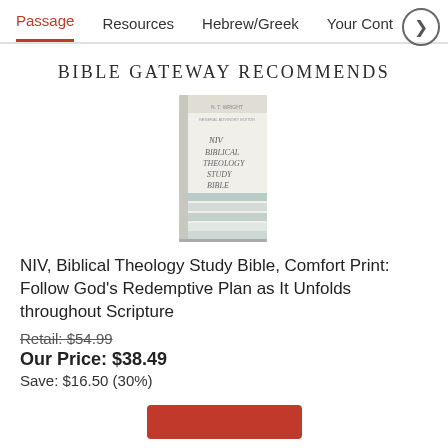Passage   Resources   Hebrew/Greek   Your Cont…
BIBLE GATEWAY RECOMMENDS
[Figure (photo): Book cover of NIV Biblical Theology Study Bible]
NIV, Biblical Theology Study Bible, Comfort Print: Follow God's Redemptive Plan as It Unfolds throughout Scripture
Retail: $54.99
Our Price: $38.49
Save: $16.50 (30%)